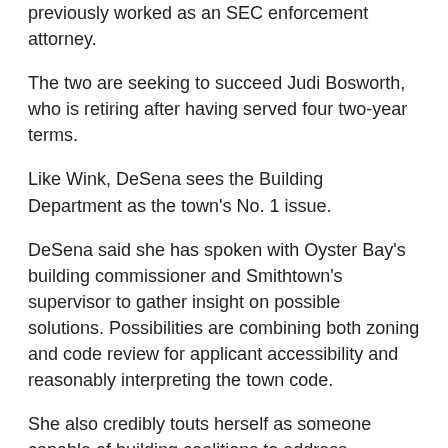previously worked as an SEC enforcement attorney.
The two are seeking to succeed Judi Bosworth, who is retiring after having served four two-year terms.
Like Wink, DeSena sees the Building Department as the town's No. 1 issue.
DeSena said she has spoken with Oyster Bay's building commissioner and Smithtown's supervisor to gather insight on possible solutions. Possibilities are combining both zoning and code review for applicant accessibility and reasonably interpreting the town code.
She also credibly touts herself as someone capable of building coalitions to address problems faced by downtown business districts.